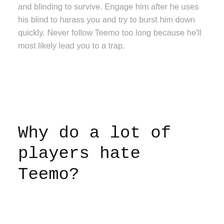and blinding to survive. Engage him after he uses his blind to harass you and try to burst him down quickly. Never follow Teemo too long because he'll most likely lead you to a trap.
Why do a lot of players hate Teemo?
Teemo is considered annoying because he can leave deadly mushrooms anywhere on the map that deals a high amount of damage. This forces players to play cautiously when moving around the map which is not ideal.
Share this...
[Figure (other): Social share icons row: Facebook (blue circle), Pinterest (red circle), Twitter (teal circle), LinkedIn (blue circle), and a Discord button (purple rectangle with Discord logo and text 'DISCORD')]